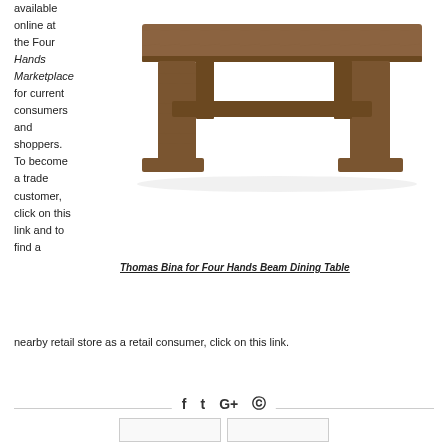available online at the Four Hands Marketplace for current consumers and shoppers. To become a trade customer, click on this link and to find a
[Figure (photo): Thomas Bina for Four Hands Beam Dining Table — a solid wood rectangular dining table with thick plank top and chunky H-frame base in walnut finish]
Thomas Bina for Four Hands Beam Dining Table
nearby retail store as a retail consumer, click on this link.
f  t  G+  @